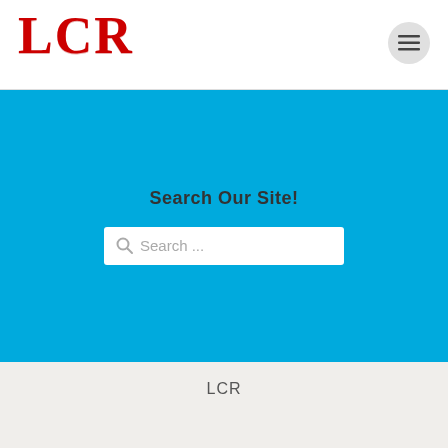LCR
Search Our Site!
[Figure (screenshot): Search input box with placeholder text 'Search ...' and a search icon on a blue background]
LCR